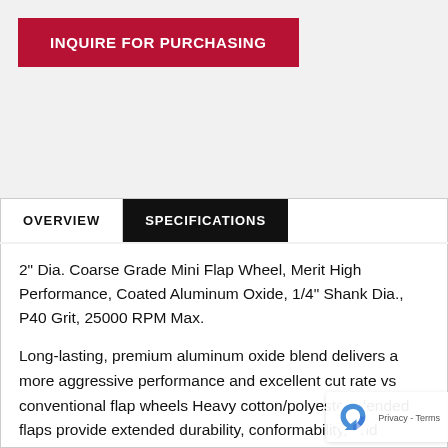INQUIRE FOR PURCHASING
OVERVIEW	SPECIFICATIONS
2" Dia. Coarse Grade Mini Flap Wheel, Merit High Performance, Coated Aluminum Oxide, 1/4" Shank Dia., P40 Grit, 25000 RPM Max.
Long-lasting, premium aluminum oxide blend delivers a more aggressive performance and excellent cut rate vs conventional flap wheels Heavy cotton/polyester blended flaps provide extended durability, conformability, and